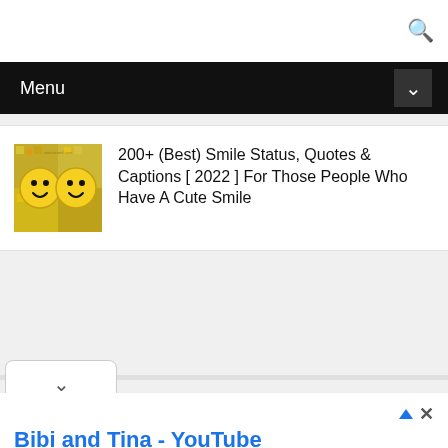🔍
Menu
[Figure (illustration): Two yellow smiley face emoji characters side by side on a colorful mosaic background]
200+ (Best) Smile Status, Quotes & Captions [ 2022 ] For Those People Who Have A Cute Smile
Bibi and Tina - YouTube
The Official Bibi & Tina YouTube Channel. A new adventure will be uploaded every thursday! Bibi and Tina
Subscribe